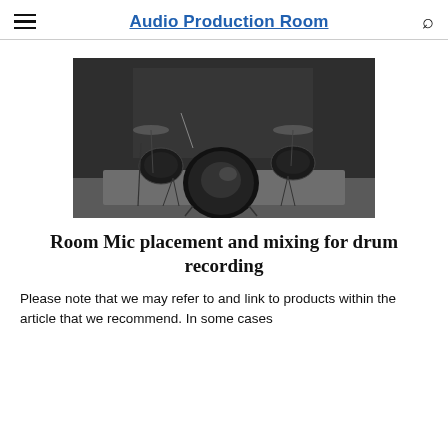Audio Production Room
[Figure (photo): Black and white photograph of a drum kit set up in a studio room against a dark background.]
Room Mic placement and mixing for drum recording
Please note that we may refer to and link to products within the article that we recommend. In some cases